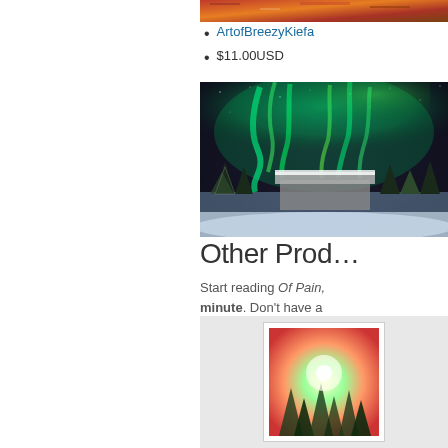[Figure (photo): Partial view of a red/orange textured image at top right, cropped]
ArtofBreezyKiefa (link, truncated)
$11.00USD
[Figure (photo): Aurora borealis photo showing green northern lights over snow-covered trees and a building at night]
Other Pro...
Start reading Of Pain, ... minute. Don't have a ...
[Figure (photo): Book product card showing a colorful cosmic/nature image with trees, framed with white border on gray background]